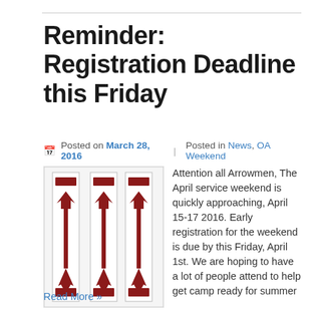Reminder: Registration Deadline this Friday
Posted on March 28, 2016  |  Posted in News, OA Weekend
[Figure (photo): Three OA (Order of the Arrow) sashes with red arrow emblems on white background]
Attention all Arrowmen, The April service weekend is quickly approaching, April 15-17 2016. Early registration for the weekend is due by this Friday, April 1st. We are hoping to have a lot of people attend to help get camp ready for summer …
Read More »